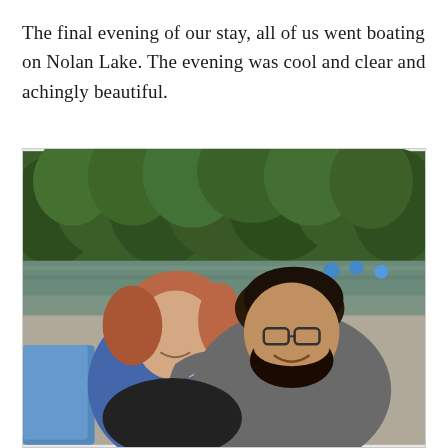The final evening of our stay, all of us went boating on Nolan Lake. The evening was cool and clear and achingly beautiful.
[Figure (photo): A couple smiling together outdoors near a lake. The woman on the left has reddish hair and is wearing a blue denim shirt, leaning her head toward the man. The man on the right has dark hair, a beard, and glasses, wearing a gray shirt. Trees and a lake are visible in the background.]